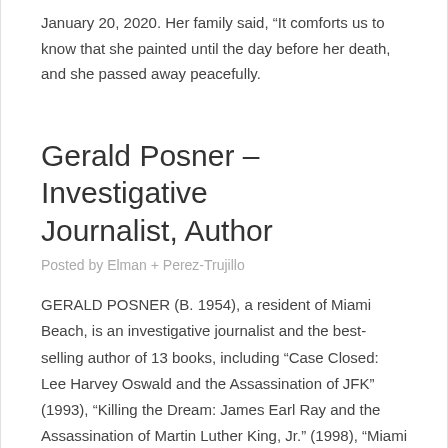January 20, 2020. Her family said, “It comforts us to know that she painted until the day before her death, and she passed away peacefully.
Gerald Posner – Investigative Journalist, Author
Posted by Elman + Perez-Trujillo
GERALD POSNER (B. 1954), a resident of Miami Beach, is an investigative journalist and the best-selling author of 13 books, including “Case Closed: Lee Harvey Oswald and the Assassination of JFK” (1993), “Killing the Dream: James Earl Ray and the Assassination of Martin Luther King, Jr.” (1998), “Miami Babylon,” the